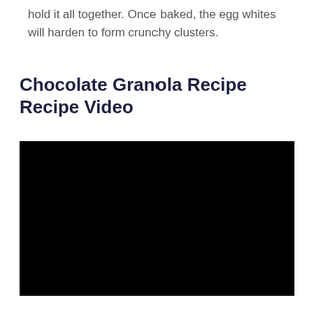hold it all together. Once baked, the egg whites will harden to form crunchy clusters.
Chocolate Granola Recipe Recipe Video
[Figure (screenshot): Black video player embed for Chocolate Granola Recipe Recipe Video]